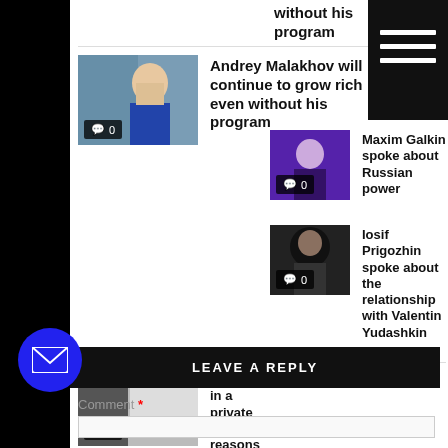without his program
[Figure (photo): Photo of Andrey Malakhov with comment badge showing 0 comments]
Andrey Malakhov will continue to grow rich even without his program
[Figure (photo): Photo of Maxim Galkin with comment badge showing 0 comments]
Maxim Galkin spoke about Russian power
[Figure (photo): Heat loss article thumbnail with comment badge showing 0 comments]
Heat loss in a private house: 6 reasons
[Figure (photo): Photo of Iosif Prigozhin with comment badge showing 0 comments]
Iosif Prigozhin spoke about the relationship with Valentin Yudashkin
LEAVE A REPLY
Comment *